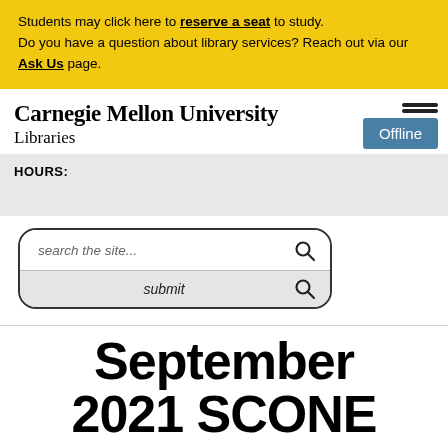Students may click here to reserve a seat to study. Do you have a question about library services? Reach out via our Ask Us page.
Carnegie Mellon University Libraries
[Figure (other): Offline button with hamburger menu lines above it]
HOURS:
[Figure (screenshot): Search box with placeholder text 'search the site...' and a submit button row below with a search icon]
September 2021 SCONE